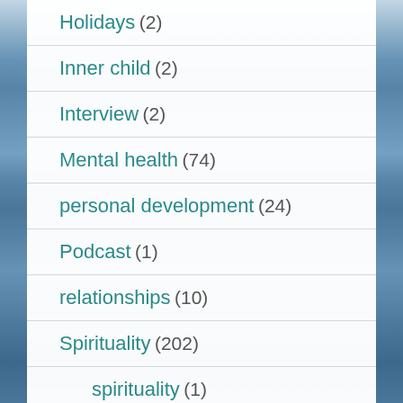Holidays (2)
Inner child (2)
Interview (2)
Mental health (74)
personal development (24)
Podcast (1)
relationships (10)
Spirituality (202)
spirituality (1)